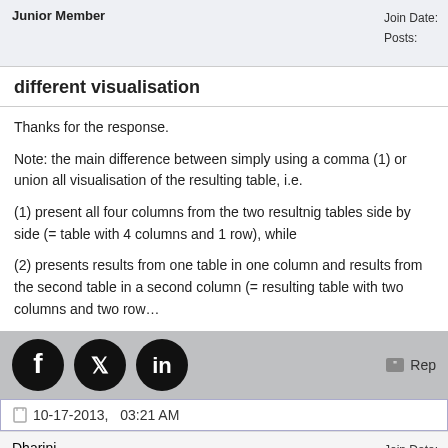Junior Member
Join Date:
Posts:
different visualisation
Thanks for the response.

Note: the main difference between simply using a comma (1) or union all visualisation of the resulting table, i.e.

(1) present all four columns from the two resultnig tables side by side (= table with 4 columns and 1 row), while

(2) presents results from one table in one column and results from the second table in a second column (= resulting table with two columns and two rows.
[Figure (infographic): Social media share icons: Facebook, Twitter, LinkedIn (black circles), and a Reply button with quote icon]
10-17-2013,   03:21 AM
Dharini
Junior Member
Join Date:
Location:
Posts: